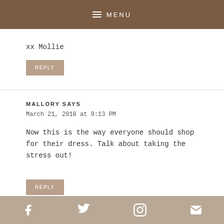MENU
xx Mollie
REPLY
MALLORY SAYS
March 21, 2018 at 9:13 PM
Now this is the way everyone should shop for their dress. Talk about taking the stress out!
REPLY
Facebook Twitter Pinterest Email